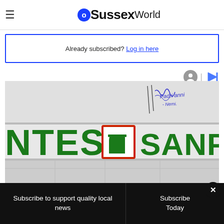OSussexWorld
Already subscribed? Log in here
[Figure (photo): Intesa Sanpaolo bank branch exterior sign showing green letters 'NTESA' and 'SANPAOLO' with the red-framed arch logo, with handwriting/graffiti visible above]
Subscribe to support quality local news
Subscribe Today